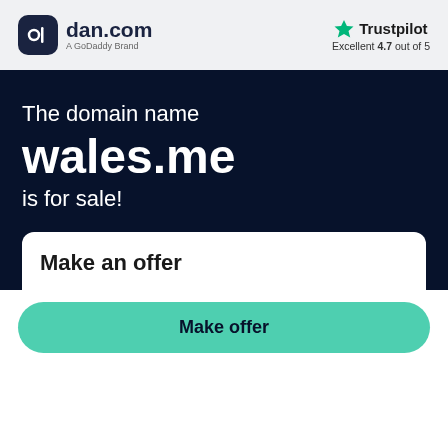[Figure (logo): dan.com logo - dark rounded square icon with stylized 'd' and 'dan.com' text, 'A GoDaddy Brand' subtitle]
[Figure (logo): Trustpilot logo with green star, 'Trustpilot' text, 'Excellent 4.7 out of 5' rating]
The domain name
wales.me
is for sale!
Make an offer
Make offer